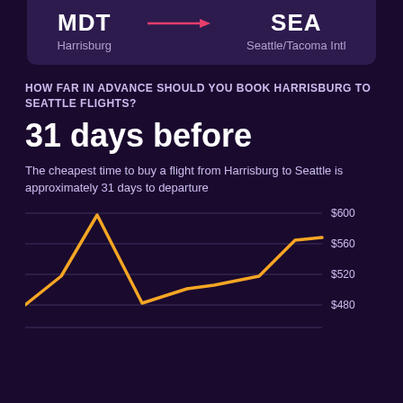[Figure (infographic): Airport route card showing MDT (Harrisburg) connected by pink arrow to SEA (Seattle/Tacoma Intl)]
HOW FAR IN ADVANCE SHOULD YOU BOOK HARRISBURG TO SEATTLE FLIGHTS?
31 days before
The cheapest time to buy a flight from Harrisburg to Seattle is approximately 31 days to departure
[Figure (line-chart): Line chart showing flight price vs days before departure, with y-axis labels $480, $520, $560, $600. Orange line peaks around 600 early then dips and rises again toward $560 at departure.]